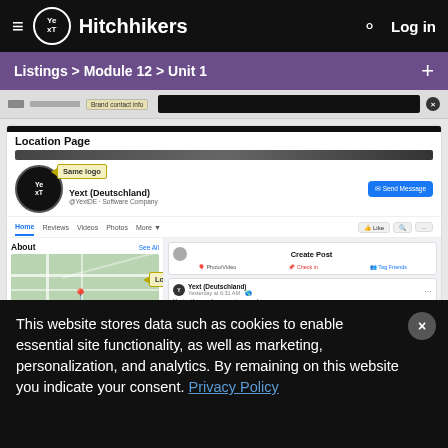Hitchhikers
Listings > Module 12 > Unit 1
[Figure (screenshot): Screenshot of a Facebook Location Page for Yext (Deutschland) showing the profile with logo, 'Same logo' callout, 'Location address' callout pointing to map area, and post feed with Create Post box.]
This website stores data such as cookies to enable essential site functionality, as well as marketing, personalization, and analytics. By remaining on this website you indicate your consent. Privacy Policy